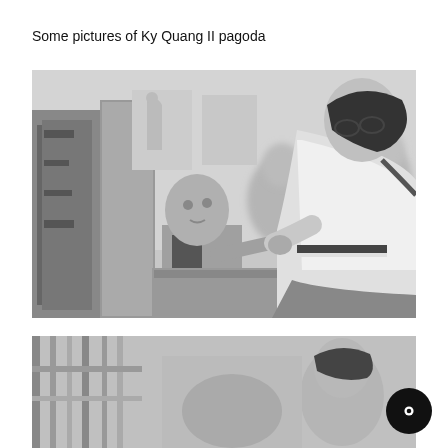Some pictures of Ky Quang II pagoda
[Figure (photo): Black and white photograph of a young bald child sitting at a small desk being fed by a woman wearing glasses and a white polo shirt who leans forward toward the child. Other blurred figures are visible in the background inside what appears to be a care facility.]
[Figure (photo): Partially visible black and white photograph at the bottom of the page showing people in what appears to be the same pagoda setting.]